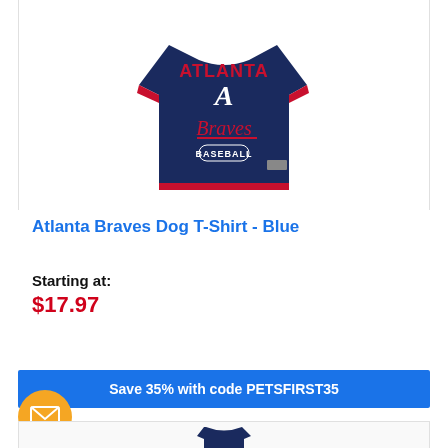[Figure (photo): Atlanta Braves dog t-shirt jersey in navy blue with red trim, showing 'ATLANTA' text at top, large 'A' logo, 'Braves' script, and 'BASEBALL' patch on front]
Atlanta Braves Dog T-Shirt - Blue
Starting at:
$17.97
Save 35% with code PETSFIRST35
[Figure (photo): Partial view of another dog jersey product below]